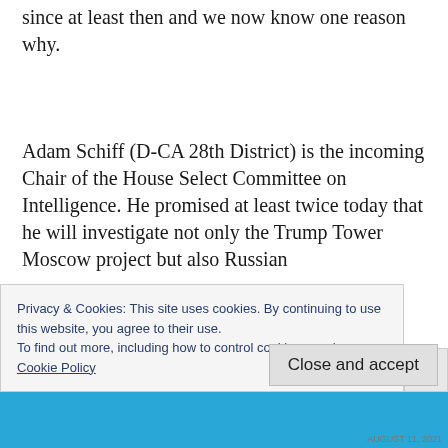since at least then and we now know one reason why.
Adam Schiff (D-CA 28th District) is the incoming Chair of the House Select Committee on Intelligence. He promised at least twice today that he will investigate not only the Trump Tower Moscow project but also Russian
Privacy & Cookies: This site uses cookies. By continuing to use this website, you agree to their use.
To find out more, including how to control cookies, see here:
Cookie Policy
Close and accept